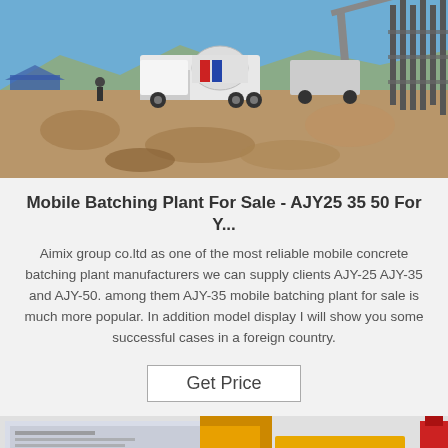[Figure (photo): Construction site with concrete mixer truck and crane, rocky terrain, reinforcement steel bars, blue sky background.]
Mobile Batching Plant For Sale - AJY25 35 50 For Y...
Aimix group co.ltd as one of the most reliable mobile concrete batching plant manufacturers we can supply clients AJY-25 AJY-35 and AJY-50. among them AJY-35 mobile batching plant for sale is much more popular. In addition model display I will show you some successful cases in a foreign country.
Get Price
[Figure (photo): Yellow concrete batching equipment / hopper unit with product brochure/document visible on left side.]